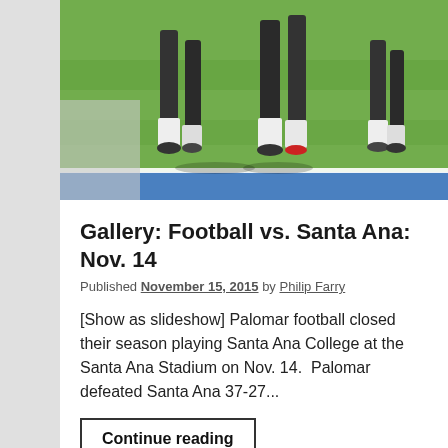[Figure (photo): Football players on a green field, legs and cleats visible, near blue end zone line, sunny day]
Gallery: Football vs. Santa Ana: Nov. 14
Published November 15, 2015 by Philip Farry
[Show as slideshow] Palomar football closed their season playing Santa Ana College at the Santa Ana Stadium on Nov. 14.  Palomar defeated Santa Ana 37-27...
Continue reading
Featured image:
| All
Rights Reserved